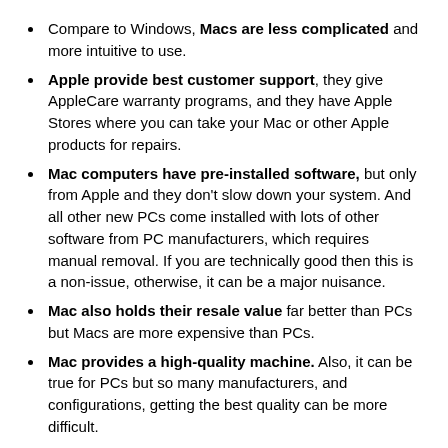Compare to Windows, Macs are less complicated and more intuitive to use.
Apple provide best customer support, they give AppleCare warranty programs, and they have Apple Stores where you can take your Mac or other Apple products for repairs.
Mac computers have pre-installed software, but only from Apple and they don't slow down your system. And all other new PCs come installed with lots of other software from PC manufacturers, which requires manual removal. If you are technically good then this is a non-issue, otherwise, it can be a major nuisance.
Mac also holds their resale value far better than PCs but Macs are more expensive than PCs.
Mac provides a high-quality machine. Also, it can be true for PCs but so many manufacturers, and configurations, getting the best quality can be more difficult.
Macs are more innovative in design and features. Like Macs include USB Type C ports, Thunderbolt, multi-touch trackpads, keyboard backlighting, force touch, and more.
Windows cannot read Mac formatted drives unless you install a third-party program but Macs can read NTFS or